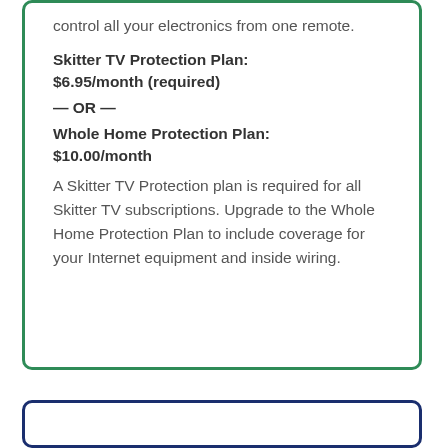control all your electronics from one remote.
Skitter TV Protection Plan: $6.95/month (required)
— OR —
Whole Home Protection Plan: $10.00/month
A Skitter TV Protection plan is required for all Skitter TV subscriptions. Upgrade to the Whole Home Protection Plan to include coverage for your Internet equipment and inside wiring.